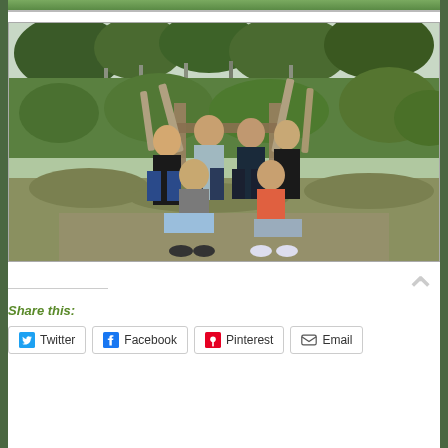[Figure (photo): Top strip of a photo showing greenery/outdoor scene, partially cropped]
[Figure (photo): Group photo of six people (adults and teenagers) posing outdoors on grassy hillside with a large wooden chair/throne structure. Two adults seated, four younger people standing behind. Surrounded by green vegetation and trees.]
Share this:
Twitter
Facebook
Pinterest
Email